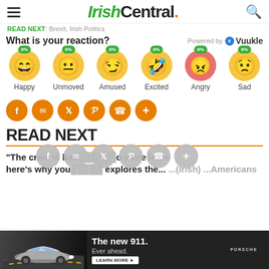IrishCentral.
READ NEXT: Brexit, Irish Politics
What is your reaction? Powered by Vuukle
[Figure (infographic): Six emoji reaction buttons each showing 0%: Happy, Unmoved, Amused, Excited, Angry, Sad]
[Figure (infographic): Social share buttons: Facebook, Email, Twitter, Pinterest, WhatsApp, More]
READ NEXT
"The craic is back" - explores the ... more Irish- here's why you ... Americans
[Figure (infographic): Advertisement: The new 911. Ever ahead. Porsche LEARN MORE button. Car image on dark background.]